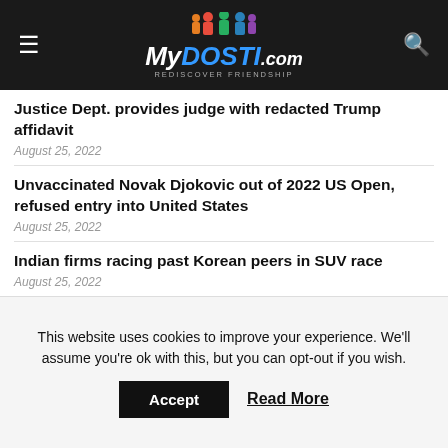MyDosti.com — Rediscover Friendship
Justice Dept. provides judge with redacted Trump affidavit
August 25, 2022
Unvaccinated Novak Djokovic out of 2022 US Open, refused entry into United States
August 25, 2022
Indian firms racing past Korean peers in SUV race
August 25, 2022
'That's not what our report said': Mueller lawyer nails Bill Barr for lying in bombshell Trump memo
August 25, 2022
This website uses cookies to improve your experience. We'll assume you're ok with this, but you can opt-out if you wish.
Accept  Read More